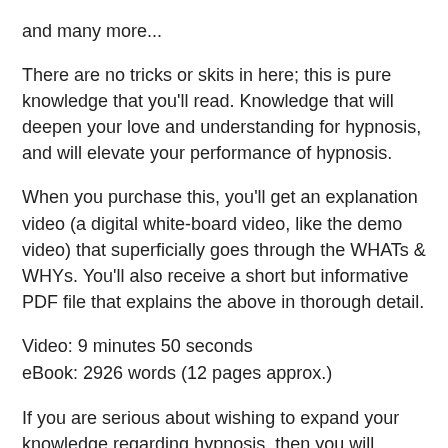and many more...
There are no tricks or skits in here; this is pure knowledge that you'll read. Knowledge that will deepen your love and understanding for hypnosis, and will elevate your performance of hypnosis.
When you purchase this, you'll get an explanation video (a digital white-board video, like the demo video) that superficially goes through the WHATs & WHYs. You'll also receive a short but informative PDF file that explains the above in thorough detail.
Video: 9 minutes 50 seconds
eBook: 2926 words (12 pages approx.)
If you are serious about wishing to expand your knowledge regarding hypnosis, then you will greatly benefit by reading this